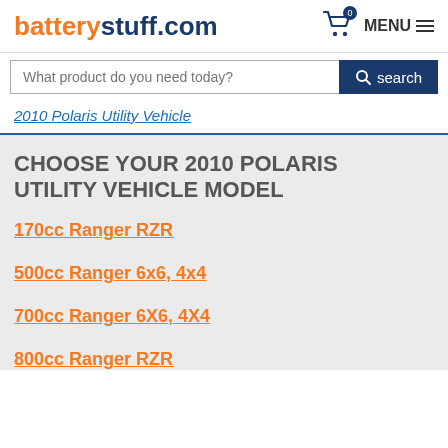batterystuff.com
What product do you need today? search
2010 Polaris Utility Vehicle
CHOOSE YOUR 2010 POLARIS UTILITY VEHICLE MODEL
170cc Ranger RZR
500cc Ranger 6x6, 4x4
700cc Ranger 6X6, 4X4
800cc Ranger RZR